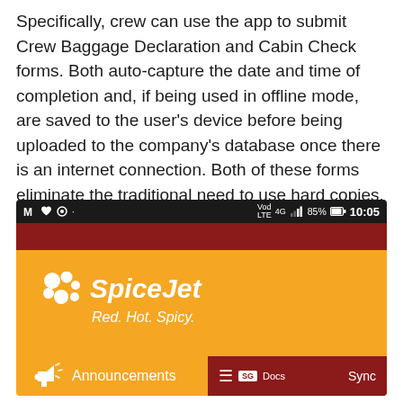Specifically, crew can use the app to submit Crew Baggage Declaration and Cabin Check forms. Both auto-capture the date and time of completion and, if being used in offline mode, are saved to the user's device before being uploaded to the company's database once there is an internet connection. Both of these forms eliminate the traditional need to use hard copies.
[Figure (screenshot): Screenshot of the SpiceJet mobile app showing the status bar with 85% battery and 10:05 time, a dark red header bar, orange background with SpiceJet logo and 'Red. Hot. Spicy.' tagline, an Announcements section icon, and a dark red overlay panel on the right with hamburger menu, SG Docs label, and Sync button.]